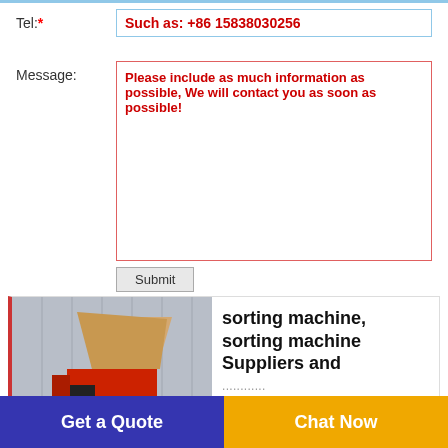Tel:* Such as: +86 15838030256
Message: Please include as much information as possible, We will contact you as soon as possible!
Submit
[Figure (photo): Red sorting machine with motor and funnel-shaped hopper in a workshop setting]
sorting machine, sorting machine Suppliers and
Get a Quote
Chat Now